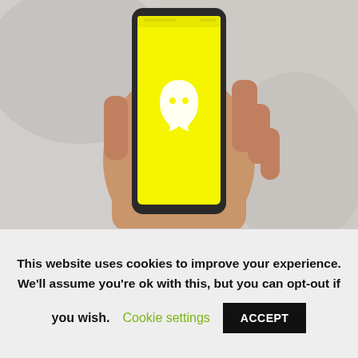[Figure (photo): A hand holding a smartphone displaying the Snapchat app with a yellow screen and white ghost logo]
Snapchat has scrapped its auto-advance function in favor of a new Story playlist feature that's all about personal curation.
In case you're not familiar with Stories, the feature allows the app's users to share a collection of images and videos during a 24-hour period. Previously, the integration of auto-advance meant users would have to
This website uses cookies to improve your experience. We'll assume you're ok with this, but you can opt-out if you wish. Cookie settings ACCEPT